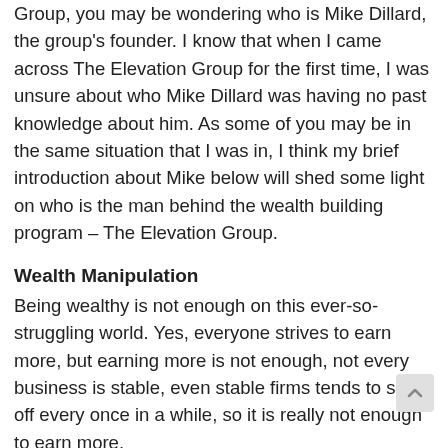Group, you may be wondering who is Mike Dillard, the group's founder. I know that when I came across The Elevation Group for the first time, I was unsure about who Mike Dillard was having no past knowledge about him. As some of you may be in the same situation that I was in, I think my brief introduction about Mike below will shed some light on who is the man behind the wealth building program – The Elevation Group.
Wealth Manipulation
Being wealthy is not enough on this ever-so-struggling world. Yes, everyone strives to earn more, but earning more is not enough, not every business is stable, even stable firms tends to slip-off every once in a while, so it is really not enough to earn more.
How to Price-Mark and Discover Yard Sale Items
Garage sale pieces can be located practically anyplace in a